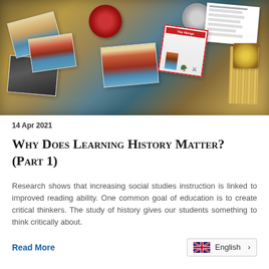[Figure (photo): Photo of Viking history educational materials spread on a map — includes illustrated cards of Viking longships, a red circular notebook/tin, a silver coin, a 'The Vikings' booklet, a black-and-white historical photo, bamboo sticks, and a worksheet, all arranged on a world map background.]
14 Apr 2021
Why Does Learning History Matter? (Part 1)
Research shows that increasing social studies instruction is linked to improved reading ability. One common goal of education is to create critical thinkers. The study of history gives our students something to think critically about.
Read More
English